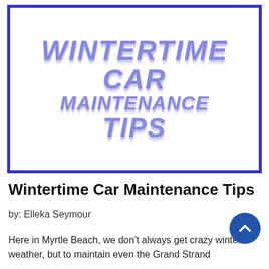[Figure (illustration): Banner image with blue border containing the text 'WINTERTIME CAR MAINTENANCE TIPS' in a large icy/frozen italic bold font style in medium blue/purple color on white background]
Wintertime Car Maintenance Tips
by: Elleka Seymour
Here in Myrtle Beach, we don't always get crazy winter weather, but to maintain even the Grand Strand...